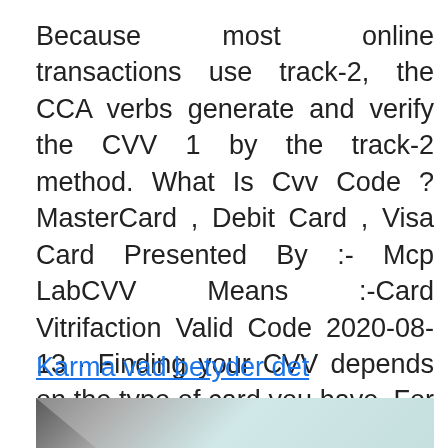Because most online transactions use track-2, the CCA verbs generate and verify the CVV 1 by the track-2 method. What Is Cvv Code ? MasterCard , Debit Card , Visa Card Presented By :- Mcp LabCVV Means :-Card Vitrifaction Valid Code 2020-08-13 · Finding your CVV depends on the type of card you have. For Visa, Mastercard and Discover cards, you'll find the three-digit code on the back, usually inside or just above the signature strip. Test submitting encrypted card details. If you would like to test API calls from your server but your client-side integration is not ready yet, add a prefix of test_ to the test card credentials.
Karma vad betyder det
[Figure (photo): Partial photo showing a surface with grey and teal/light blue tones, cropped at the bottom of the page.]